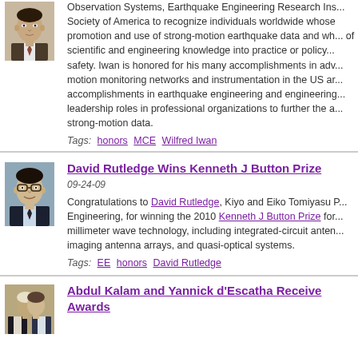[Figure (photo): Portrait photo of man in suit and tie]
Observation Systems, Earthquake Engineering Research Institute, and Seismological Society of America to recognize individuals worldwide whose work has advanced the promotion and use of strong-motion earthquake data and who have translated the results of scientific and engineering knowledge into practice or policy to further public safety. Iwan is honored for his many accomplishments in advancing strong-motion monitoring networks and instrumentation in the US and internationally, for his accomplishments in earthquake engineering and engineering seismology, and for his leadership roles in professional organizations to further the application and use of strong-motion data.
Tags: honors MCE Wilfred Iwan
[Figure (photo): Portrait photo of David Rutledge, man with glasses smiling]
David Rutledge Wins Kenneth J Button Prize
09-24-09
Congratulations to David Rutledge, Kiyo and Eiko Tomiyasu Professor of Engineering, for winning the 2010 Kenneth J Button Prize for research on millimeter wave technology, including integrated-circuit antennas, imaging antenna arrays, and quasi-optical systems.
Tags: EE honors David Rutledge
[Figure (photo): Portrait photo of Abdul Kalam and Yannick d'Escatha]
Abdul Kalam and Yannick d'Escatha Receive Awards